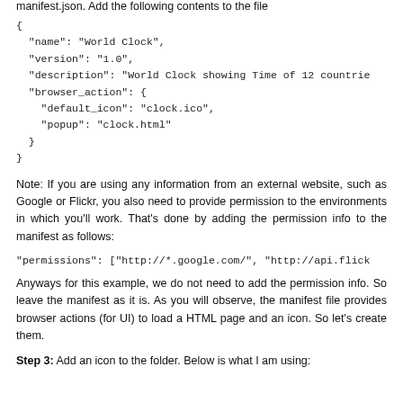manifest.json. Add the following contents to the file
{
  "name": "World Clock",
  "version": "1.0",
  "description": "World Clock showing Time of 12 countrie
  "browser_action": {
    "default_icon": "clock.ico",
    "popup": "clock.html"
  }
}
Note: If you are using any information from an external website, such as Google or Flickr, you also need to provide permission to the environments in which you'll work. That's done by adding the permission info to the manifest as follows:
"permissions": ["http://*.google.com/", "http://api.flick
Anyways for this example, we do not need to add the permission info. So leave the manifest as it is. As you will observe, the manifest file provides browser actions (for UI) to load a HTML page and an icon. So let's create them.
Step 3: Add an icon to the folder. Below is what I am using: